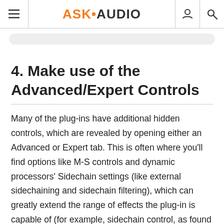ASK•AUDIO
4. Make use of the Advanced/Expert Controls
Many of the plug-ins have additional hidden controls, which are revealed by opening either an Advanced or Expert tab. This is often where you'll find options like M-S controls and dynamic processors' Sidechain settings (like external sidechaining and sidechain filtering), which can greatly extend the range of effects the plug-in is capable of (for example, sidechain control, as found in Pro-C and Pro-G,